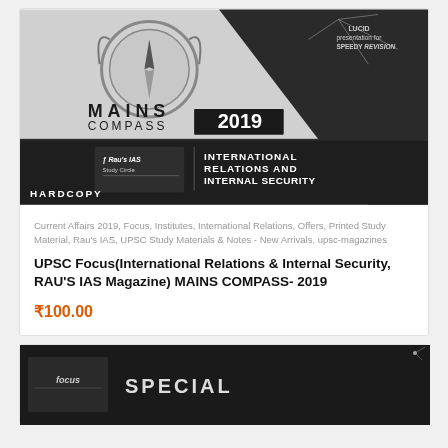[Figure (photo): Book cover: MAINS COMPASS 2019 - International Relations and Internal Security, Rau's IAS Study Circle. Shows compass logo, 'HARDCOPY' label, and 'LUCID presentation for SPEEDY REVISION' text.]
Current Affairs 2019, Focus, Institutes, International Relations, Offers, Printed Study Material, Rau's IAS, UPSC Study Materials & Notes - New Arrivals, upsc-magazines
UPSC Focus(International Relations & Internal Security, RAU'S IAS Magazine) MAINS COMPASS- 2019
₹100.00
[Figure (photo): Partial view of another book cover showing 'focus SPECIAL' text on dark background.]